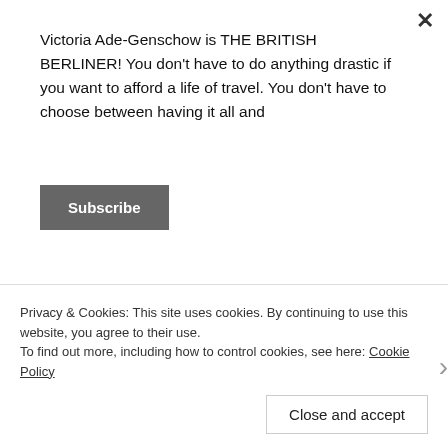Victoria Ade-Genschow is THE BRITISH BERLINER! You don't have to do anything drastic if you want to afford a life of travel. You don't have to choose between having it all and
Subscribe
1.  ABBA – THE MUSEUM:
[Figure (photo): Partial photo showing someone's head/hair from behind, in a museum setting]
Privacy & Cookies: This site uses cookies. By continuing to use this website, you agree to their use.
To find out more, including how to control cookies, see here: Cookie Policy
Close and accept